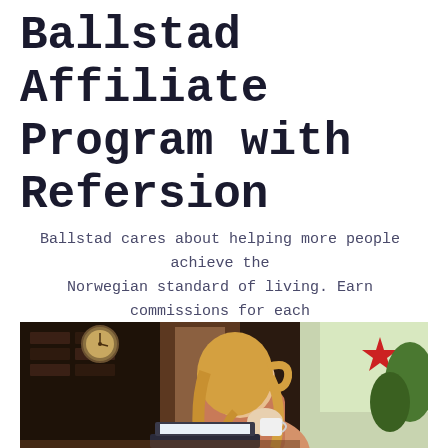Ballstad Affiliate Program with Refersion
Ballstad cares about helping more people achieve the Norwegian standard of living. Earn commissions for each new Ballstad subscription that references you.
[Figure (photo): A woman with blonde hair seen from behind, sitting at a table with a laptop in a cozy, warmly lit kitchen or cafe setting. A clock and dark brick wall are visible in the background, along with a red star decoration near a window.]